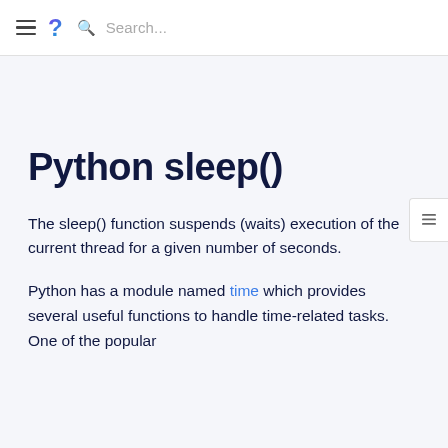≡ ? Search...
Python sleep()
The sleep() function suspends (waits) execution of the current thread for a given number of seconds.
Python has a module named time which provides several useful functions to handle time-related tasks. One of the popular